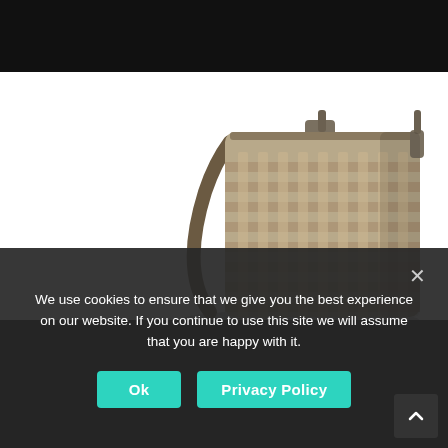[Figure (photo): A tan/khaki tactical MOLLE sling bag or shoulder bag with MOLLE webbing on the front panel, photographed against a white background. The bag has metal hardware at the top and diagonal straps.]
We use cookies to ensure that we give you the best experience on our website. If you continue to use this site we will assume that you are happy with it.